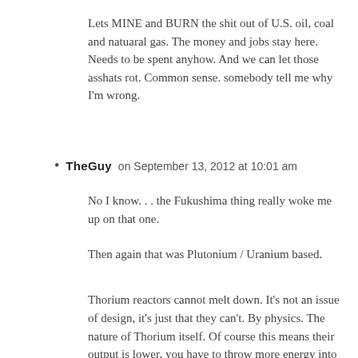Lets MINE and BURN the shit out of U.S. oil, coal and natuaral gas. The money and jobs stay here. Needs to be spent anyhow. And we can let those asshats rot. Common sense. somebody tell me why I'm wrong.
TheGuy on September 13, 2012 at 10:01 am
No I know. . . the Fukushima thing really woke me up on that one.
Then again that was Plutonium / Uranium based.
Thorium reactors cannot melt down. It's not an issue of design, it's just that they can't. By physics. The nature of Thorium itself. Of course this means their output is lower, you have to throw more energy into keeping them running, but you could simply turn off all the